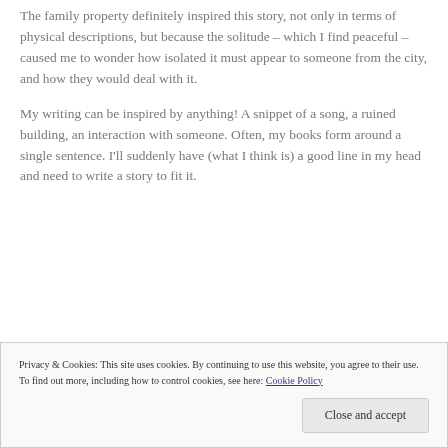The family property definitely inspired this story, not only in terms of physical descriptions, but because the solitude – which I find peaceful – caused me to wonder how isolated it must appear to someone from the city, and how they would deal with it.
My writing can be inspired by anything! A snippet of a song, a ruined building, an interaction with someone. Often, my books form around a single sentence. I'll suddenly have (what I think is) a good line in my head and need to write a story to fit it.
Privacy & Cookies: This site uses cookies. By continuing to use this website, you agree to their use.
To find out more, including how to control cookies, see here: Cookie Policy